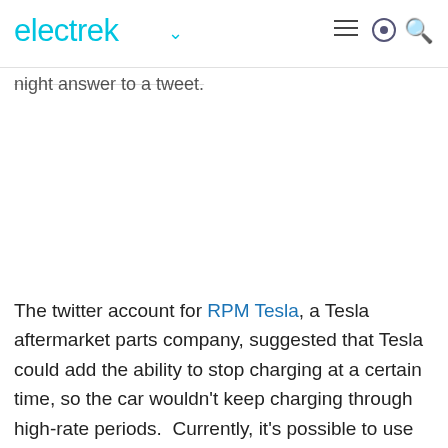electrek
night answer to a tweet.
The twitter account for RPM Tesla, a Tesla aftermarket parts company, suggested that Tesla could add the ability to stop charging at a certain time, so the car wouldn't keep charging through high-rate periods.  Currently, it's possible to use Tesla's in-car software to schedule a start time for charging,